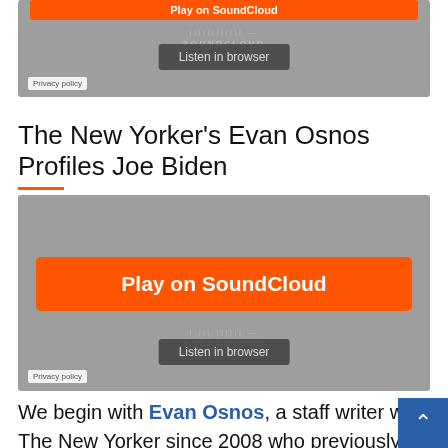[Figure (screenshot): SoundCloud audio player widget (partially cropped at top), showing orange Play on SoundCloud button, waveform, Listen in browser button, and Privacy policy link on grey background]
The New Yorker’s Evan Osnos Profiles Joe Biden
[Figure (screenshot): SoundCloud audio player widget showing orange Play on SoundCloud button, waveform with SOUNDCLOUD text, Listen in browser button on dark grey background, and Privacy policy link]
We begin with Evan Osnos, a staff writer with The New Yorker since 2008 who previously